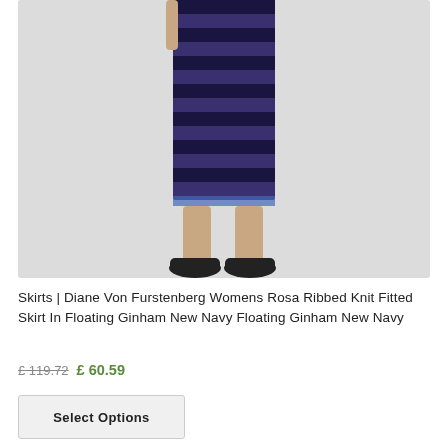[Figure (photo): Product photo of a woman wearing a navy and dark blue horizontally striped ribbed knit fitted midi skirt with a decorative hem detail, paired with black flat shoes. Only the torso from waist down and legs are visible against a light grey background.]
Skirts | Diane Von Furstenberg Womens Rosa Ribbed Knit Fitted Skirt In Floating Ginham New Navy Floating Ginham New Navy
£ 119.72  £ 60.59
Select Options